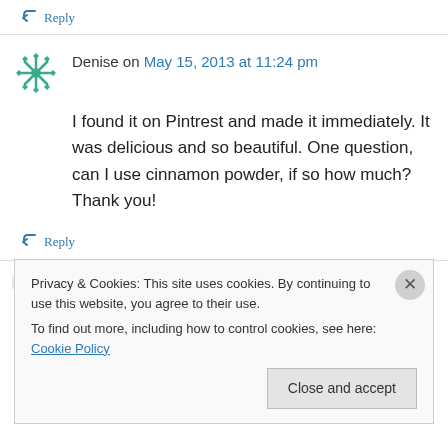↪ Reply
Denise on May 15, 2013 at 11:24 pm
I found it on Pintrest and made it immediately. It was delicious and so beautiful. One question, can I use cinnamon powder, if so how much? Thank you!
↪ Reply
Privacy & Cookies: This site uses cookies. By continuing to use this website, you agree to their use.
To find out more, including how to control cookies, see here: Cookie Policy
Close and accept